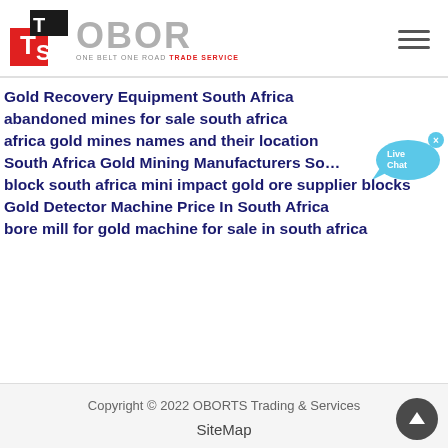[Figure (logo): TS OBOR logo — TS initials in black/red square with OBOR text and tagline ONE BELT ONE ROAD TRADE SERVICE]
Gold Recovery Equipment South Africa
abandoned mines for sale south africa
africa gold mines names and their location
South Africa Gold Mining Manufacturers South A...
block south africa mini impact gold ore supplier blocks
Gold Detector Machine Price In South Africa
bore mill for gold machine for sale in south africa
Copyright © 2022 OBORTS Trading & Services
SiteMap